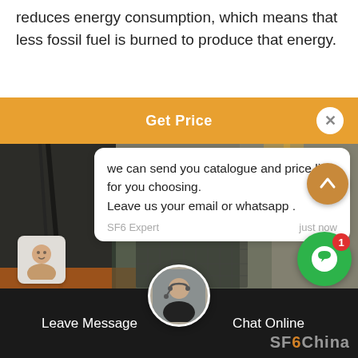reduces energy consumption, which means that less fossil fuel is burned to produce that energy.
[Figure (screenshot): Website chat widget with orange 'Get Price' header bar, a chat message from SF6 Expert saying 'we can send you catalogue and price list for you choosing. Leave us your email or whatsapp .', a reply input box, green notification button, and industrial equipment photo background. Bottom bar shows 'Leave Message' and 'Chat Online' with SFOChina watermark.]